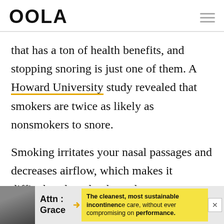OOLA
that has a ton of health benefits, and stopping snoring is just one of them. A Howard University study revealed that smokers are twice as likely as nonsmokers to snore.
Smoking irritates your nasal passages and decreases airflow, which makes it difficult to breathe through your nose.
[Figure (other): Advertisement banner: Attn: Grace brand with text 'The cleanest, most sustainable incontinence care, without ever compromising on performance.']